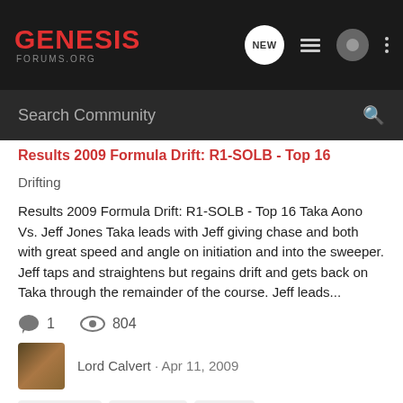[Figure (logo): Genesis Forums.org logo in red on dark background with navigation icons]
Search Community
Results 2009 Formula Drift: R1-SOLB - Top 16
Drifting
Results 2009 Formula Drift: R1-SOLB - Top 16 Taka Aono Vs. Jeff Jones Taka leads with Jeff giving chase and both with great speed and angle on initiation and into the sweeper. Jeff taps and straightens but regains drift and gets back on Taka through the remainder of the course. Jeff leads...
1  804
Lord Calvert · Apr 11, 2009
formula drift   long beach   results
1-4 of 4 Results